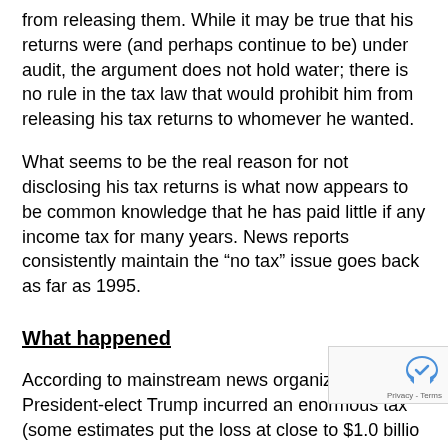from releasing them. While it may be true that his returns were (and perhaps continue to be) under audit, the argument does not hold water; there is no rule in the tax law that would prohibit him from releasing his tax returns to whomever he wanted.
What seems to be the real reason for not disclosing his tax returns is what now appears to be common knowledge that he has paid little if any income tax for many years. News reports consistently maintain the “no tax” issue goes back as far as 1995.
What happened
According to mainstream news organizations, President-elect Trump incurred an enormous tax (some estimates put the loss at close to $1.0 billio dollars) in 1995 due to adverse business conditio caused his casinos and hotels (hereafter, his businesses)